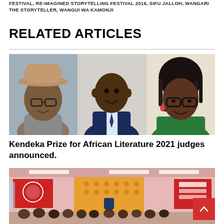FESTIVAL, RE-IMAGINED STORYTELLING FESTIVAL 2016, SIFU JALLOH, WANGARI THE STORYTELLER, WANGUI WA KAMONJI
RELATED ARTICLES
[Figure (photo): Three portrait photos side by side: a man wearing a hat and glasses, a man in a suit and tie, and a woman with glasses and dreadlocks]
Kendeka Prize for African Literature 2021 judges announced.
[Figure (photo): Indoor event photo showing a room with pink walls, a red banner with a logo, an orange backdrop, audience seated at tables, and a TIMANI sign on the right]